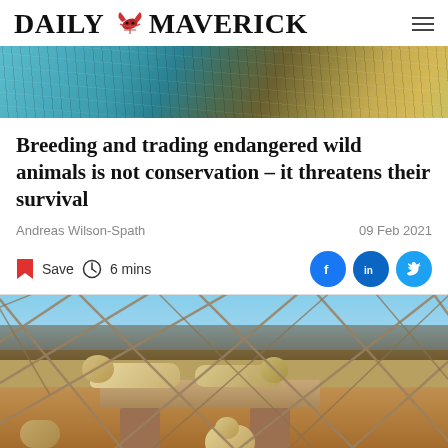DAILY MAVERICK
[Figure (photo): Top banner photo showing blurred animal/cage imagery with teal and golden tones]
Breeding and trading endangered wild animals is not conservation – it threatens their survival
Andreas Wilson-Spath
09 Feb 2021
Save  6 mins
[Figure (photo): Photo of white/pale lions in an enclosure, viewed through a chain-link fence. Two adult lions rest on a raised concrete platform, with a younger lion below. Red dirt ground, fencing and blue sky visible in background.]